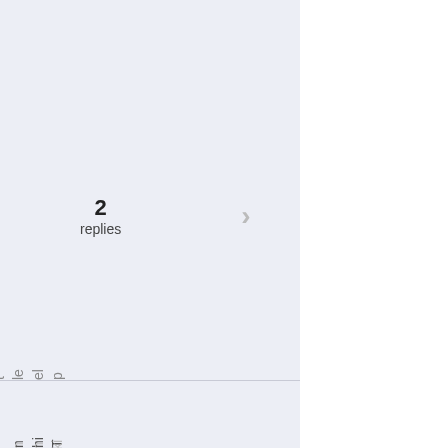peletrecommendation? evil Nick
2 replies
Thinking